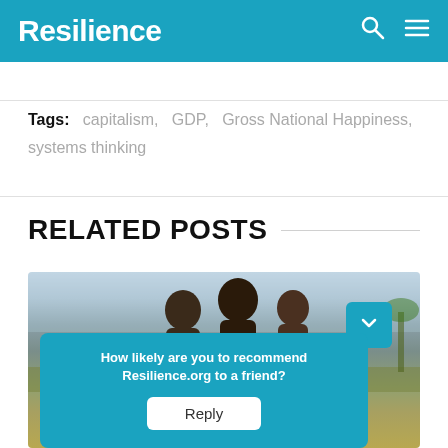Resilience
Tags: capitalism, GDP, Gross National Happiness, systems thinking
RELATED POSTS
[Figure (photo): Three children smiling, outdoors, with a survey overlay asking 'How likely are you to recommend Resilience.org to a friend?' and a Reply button.]